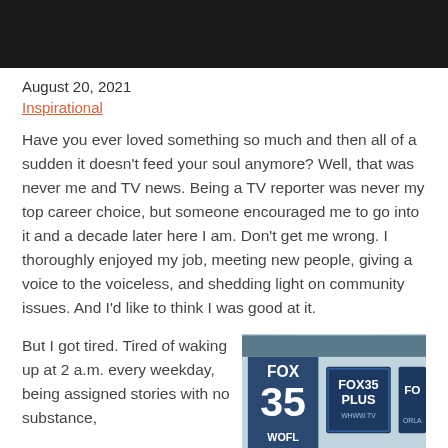[Figure (photo): Dark/black top portion of an image, cropped at top of page]
August 20, 2021
Inspirational
Have you ever loved something so much and then all of a sudden it doesn't feed your soul anymore? Well, that was never me and TV news. Being a TV reporter was never my top career choice, but someone encouraged me to go into it and a decade later here I am. Don't get me wrong. I thoroughly enjoyed my job, meeting new people, giving a voice to the voiceless, and shedding light on community issues. And I'd like to think I was good at it.
But I got tired. Tired of waking up at 2 a.m. every weekday, being assigned stories with no substance,
[Figure (photo): Photo of Fox 35 WOFL and Fox 35 Plus building signs on exterior wall]